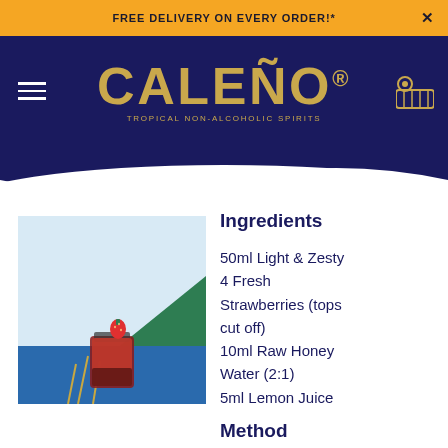FREE DELIVERY ON EVERY ORDER!*
[Figure (logo): CALEÑO® TROPICAL NON-ALCOHOLIC SPIRITS logo in gold on navy background]
[Figure (photo): A cocktail glass with red strawberry drink and fresh strawberry garnish, against a colorful blue and green tropical background]
Ingredients
50ml Light & Zesty
4 Fresh Strawberries (tops cut off)
10ml Raw Honey Water (2:1)
5ml Lemon Juice
Method